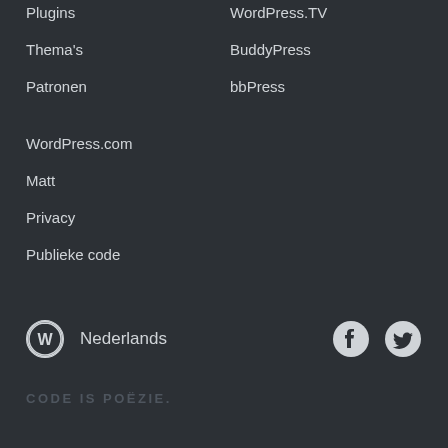Plugins
WordPress.TV
Thema's
BuddyPress
Patronen
bbPress
WordPress.com
Matt
Privacy
Publieke code
Nederlands
CODE IS POËZIE.